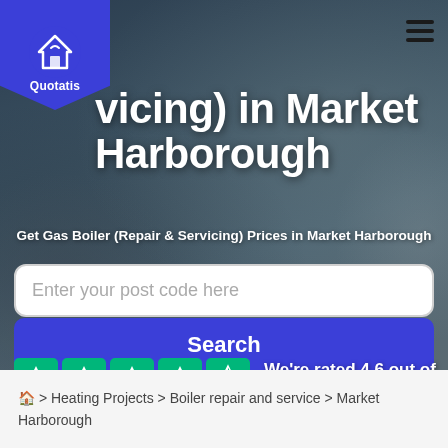[Figure (screenshot): Quotatis website hero section with logo, hamburger menu, background photo of boiler repair work, title text, search field, search button, and Trustpilot star rating]
vicing) in Market Harborough
Get Gas Boiler (Repair & Servicing) Prices in Market Harborough
Enter your post code here
Search
We're rated 4.6 out of 5
🏠 > Heating Projects > Boiler repair and service > Market Harborough